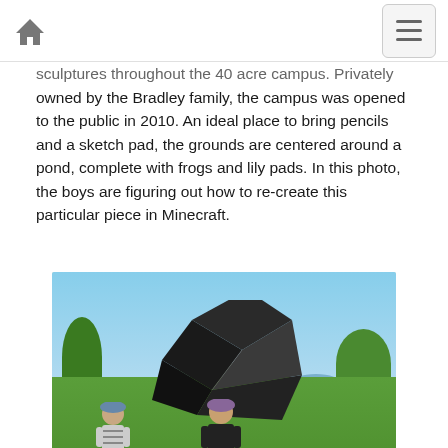Home / Menu
sculptures throughout the 40 acre campus. Privately owned by the Bradley family, the campus was opened to the public in 2010. An ideal place to bring pencils and a sketch pad, the grounds are centered around a pond, complete with frogs and lily pads. In this photo, the boys are figuring out how to re-create this particular piece in Minecraft.
[Figure (photo): Two boys standing in front of a large black geometric cube sculpture on a grassy lawn. Trees and a pond visible in the background. Blue sky above.]